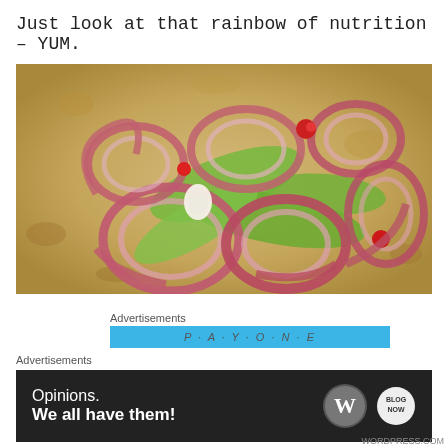Just look at that rainbow of nutrition – YUM.
[Figure (photo): Overhead view of a bowl containing sliced red onion rings and green zucchini slices with some red cherry tomatoes visible.]
Advertisements
[Figure (other): Blue advertisement banner bar with partial text visible]
Advertisements
[Figure (other): Dark banner advertisement reading 'Opinions. We all have them!' with WordPress and Blog logos on the right.]